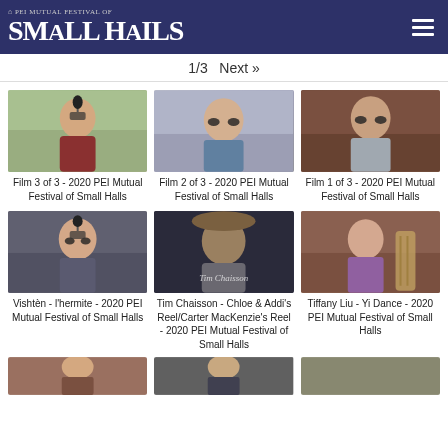PEI Mutual Festival of Small Halls
1/3  Next »
[Figure (photo): Person singing at microphone outdoors]
Film 3 of 3 - 2020 PEI Mutual Festival of Small Halls
[Figure (photo): Young woman with glasses smiling]
Film 2 of 3 - 2020 PEI Mutual Festival of Small Halls
[Figure (photo): Man with glasses smiling]
Film 1 of 3 - 2020 PEI Mutual Festival of Small Halls
[Figure (photo): Woman singing at microphone indoors]
Vishtèn - l'hermite - 2020 PEI Mutual Festival of Small Halls
[Figure (photo): Man with hat playing fiddle, Tim Chaisson title card]
Tim Chaisson - Chloe & Addi's Reel/Carter MacKenzie's Reel - 2020 PEI Mutual Festival of Small Halls
[Figure (photo): Woman playing Asian instrument]
Tiffany Liu - Yi Dance - 2020 PEI Mutual Festival of Small Halls
[Figure (photo): Bottom row partial thumbnails]
[Figure (photo): Bottom row partial thumbnail 2]
[Figure (photo): Bottom row partial thumbnail 3]